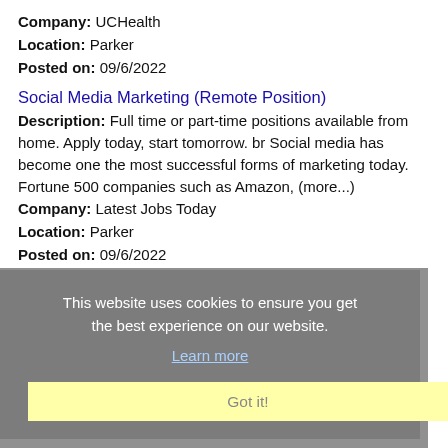Company: UCHealth
Location: Parker
Posted on: 09/6/2022
Social Media Marketing (Remote Position)
Description: Full time or part-time positions available from home. Apply today, start tomorrow. br Social media has become one the most successful forms of marketing today. Fortune 500 companies such as Amazon, (more...)
Company: Latest Jobs Today
Location: Parker
Posted on: 09/6/2022
Travel Nurse RN - Med Surg - $2,423 per week, Days
Description: Stability Healthcare is seeking a travel nurse RN Med Surg for a travel nursing job in Parker, Colorado. Job Description Requirements ul li Specialty: Med Surg li Discipline: RN li Start Date: (more...)
Company: Stability Healthcare
Location: Parker
Posted on: 09/6/2022
This website uses cookies to ensure you get the best experience on our website. Learn more Got it!
Associate Nurse Manager PCU
Description: Facility: UChealth Memorial Central Hospital Colorado